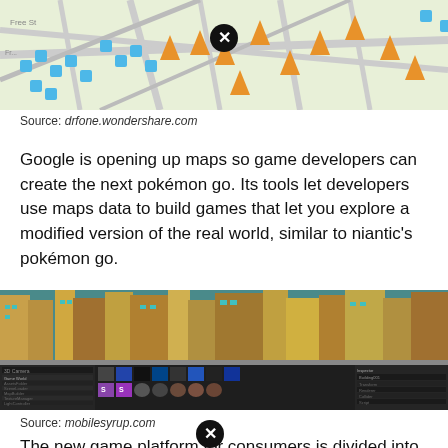[Figure (screenshot): Top portion of a map screenshot showing streets with colorful game markers (blue cubes and orange pyramids/triangles), partially cropped at top, with a black X close button overlay]
Source: drfone.wondershare.com
Google is opening up maps so game developers can create the next pokémon go. Its tools let developers use maps data to build games that let you explore a modified version of the real world, similar to niantic's pokémon go.
[Figure (screenshot): Screenshot showing a 3D rendered city view from above with skyscrapers in orange/teal tones, and below it a game development IDE/engine interface with asset panels showing texture thumbnails]
Source: mobilesyrup.com
The new game platform for consumers is divided into the